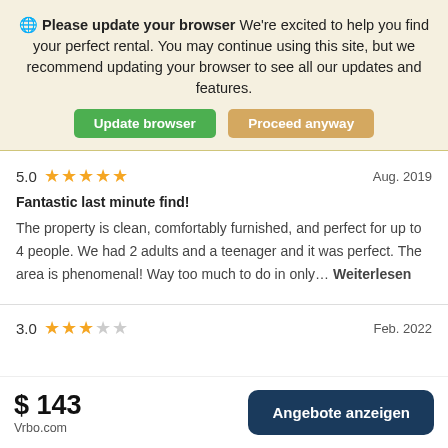Please update your browser We're excited to help you find your perfect rental. You may continue using this site, but we recommend updating your browser to see all our updates and features.
Update browser | Proceed anyway
5.0 ★★★★★ Aug. 2019
Fantastic last minute find!
The property is clean, comfortably furnished, and perfect for up to 4 people. We had 2 adults and a teenager and it was perfect. The area is phenomenal! Way too much to do in only… Weiterlesen
3.0 ★★★☆☆ Feb. 2022
$ 143 Vrbo.com
Angebote anzeigen